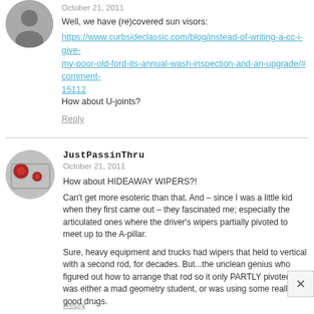[Figure (photo): Circular avatar photo of a person (silhouette/head shot)]
October 21, 2011
Well, we have (re)covered sun visors:
https://www.curbsideclassic.com/blog/instead-of-writing-a-cc-i-give-my-poor-old-ford-its-annual-wash-inspection-and-an-upgrade/#comment-15112
How about U-joints?
Reply
[Figure (photo): Circular avatar photo showing car tail lights (red circular lights)]
JustPassinThru
October 21, 2011
How about HIDEAWAY WIPERS?!
Can't get more esoteric than that. And – since I was a little kid when they first came out – they fascinated me; especially the articulated ones where the driver's wipers partially pivoted to meet up to the A-pillar.
Sure, heavy equipment and trucks had wipers that held to vertical with a second rod, for decades. But...the unclean genius who figured out how to arrange that rod so it only PARTLY pivoted...he was either a mad geometry student, or was using some really good drugs.
Reply